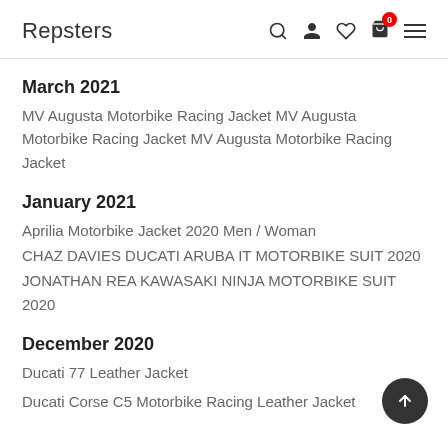Repsters
March 2021
MV Augusta Motorbike Racing Jacket MV Augusta Motorbike Racing Jacket MV Augusta Motorbike Racing Jacket
January 2021
Aprilia Motorbike Jacket 2020 Men / Woman
CHAZ DAVIES DUCATI ARUBA IT MOTORBIKE SUIT 2020
JONATHAN REA KAWASAKI NINJA MOTORBIKE SUIT 2020
December 2020
Ducati 77 Leather Jacket
Ducati Corse C5 Motorbike Racing Leather Jacket